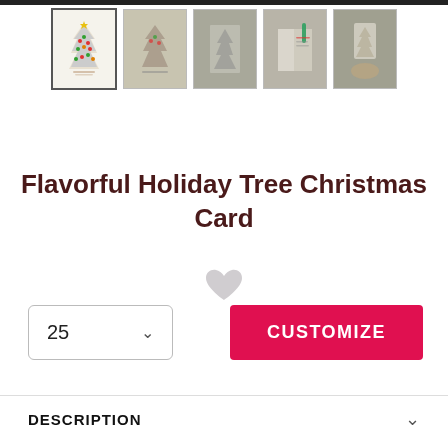[Figure (photo): Row of 5 product thumbnail images showing a holiday Christmas card with a tree design, including front view (selected), alternate angle views, open card, and hand holding card.]
Flavorful Holiday Tree Christmas Card
[Figure (illustration): Gray heart icon (wishlist/favorite button)]
25
CUSTOMIZE
DESCRIPTION